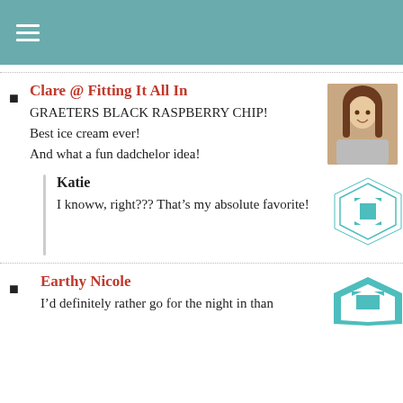≡
Clare @ Fitting It All In
GRAETERS BLACK RASPBERRY CHIP!
Best ice cream ever!
And what a fun dadchelor idea!
Katie
I knoww, right??? That's my absolute favorite!
Earthy Nicole
I'd definitely rather go for the night in than